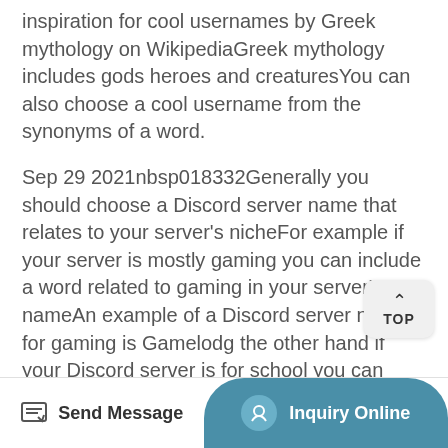inspiration for cool usernames by Greek mythology on WikipediaGreek mythology includes gods heroes and creaturesYou can also choose a cool username from the synonyms of a word.
Sep 29 2021nbsp018332Generally you should choose a Discord server name that relates to your server's nicheFor example if your server is mostly gaming you can include a word related to gaming in your server's nameAn example of a Discord server name for gaming is Gamelodg the other hand if your Discord server is for school you can name it.
99 Buy now Network N earns affiliate commission from qualifying sales.
Take a listen to this incredible royalty free track by
[Figure (other): TOP button widget with upward arrow and 'TOP' text]
[Figure (other): Bottom navigation bar with 'Send Message' button on left and 'Inquiry Online' button on right with teal background]